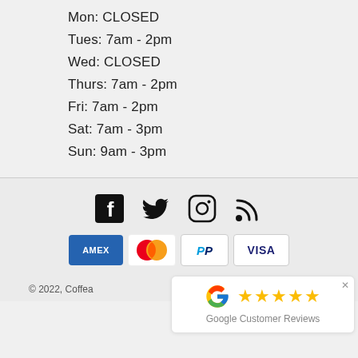Mon: CLOSED
Tues: 7am - 2pm
Wed: CLOSED
Thurs: 7am - 2pm
Fri: 7am - 2pm
Sat: 7am - 3pm
Sun: 9am - 3pm
[Figure (infographic): Social media icons: Facebook, Twitter, Instagram, RSS feed]
[Figure (infographic): Payment method icons: American Express, Mastercard, PayPal, Visa]
© 2022, Coffea…
[Figure (infographic): Google Customer Reviews widget showing 5 stars]